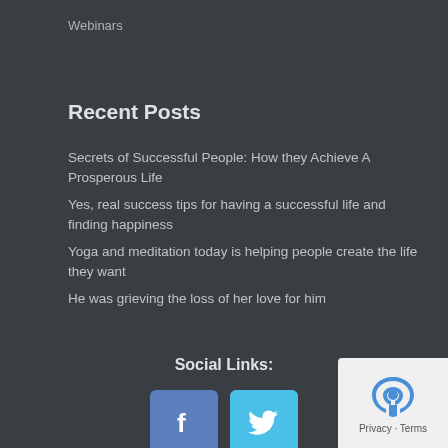Webinars
Recent Posts
Secrets of Successful People: How they Achieve A Prosperous Life
Yes, real success tips for having a successful life and finding happiness
Yoga and meditation today is helping people create the life they want
He was grieving the loss of her love for him
Social Links:
[Figure (infographic): Facebook and Twitter social media icon buttons, followed by a reCAPTCHA privacy widget in the bottom right corner.]